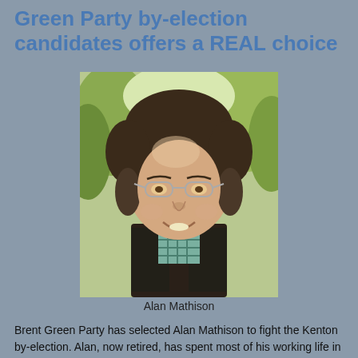Green Party by-election candidates offers a REAL choice
[Figure (photo): Portrait photo of Alan Mathison, a middle-aged man with dark hair, glasses, and a dark fleece jacket over a checked shirt, smiling outdoors.]
Alan Mathison
Brent Green Party has selected Alan Mathison to fight the Kenton by-election. Alan, now retired, has spent most of his working life in